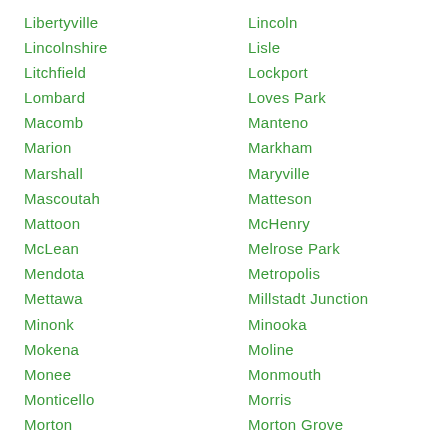Libertyville
Lincoln
Lincolnshire
Lisle
Litchfield
Lockport
Lombard
Loves Park
Macomb
Manteno
Marion
Markham
Marshall
Maryville
Mascoutah
Matteson
Mattoon
McHenry
McLean
Melrose Park
Mendota
Metropolis
Mettawa
Millstadt Junction
Minonk
Minooka
Mokena
Moline
Monee
Monmouth
Monticello
Morris
Morton
Morton Grove